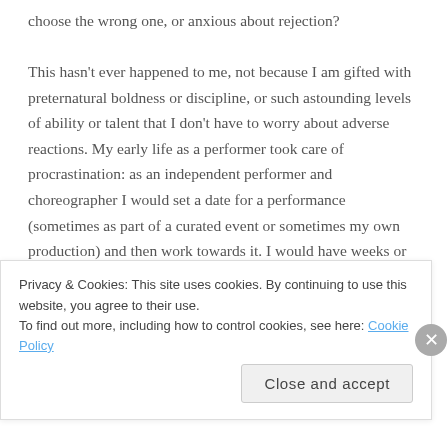choose the wrong one, or anxious about rejection?

This hasn't ever happened to me, not because I am gifted with preternatural boldness or discipline, or such astounding levels of ability or talent that I don't have to worry about adverse reactions. My early life as a performer took care of procrastination: as an independent performer and choreographer I would set a date for a performance (sometimes as part of a curated event or sometimes my own production) and then work towards it. I would have weeks or months to get ready but, come hell or high water and in sickness and in health, I would have to go on stage at that date. If my work was too raw or
Privacy & Cookies: This site uses cookies. By continuing to use this website, you agree to their use.
To find out more, including how to control cookies, see here: Cookie Policy